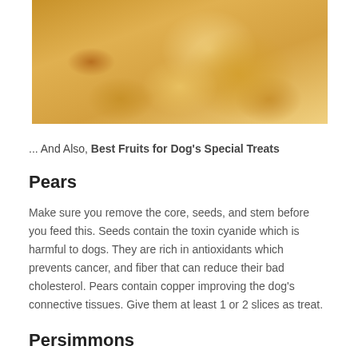[Figure (photo): Close-up photo of a golden/tan fluffy dog, cropped showing fur and ears against white background]
... And Also, Best Fruits for Dog's Special Treats
Pears
Make sure you remove the core, seeds, and stem before you feed this. Seeds contain the toxin cyanide which is harmful to dogs. They are rich in antioxidants which prevents cancer, and fiber that can reduce their bad cholesterol. Pears contain copper improving the dog's connective tissues. Give them at least 1 or 2 slices as treat.
Persimmons
Persimmons are generally safe for your dog. They are chockfull